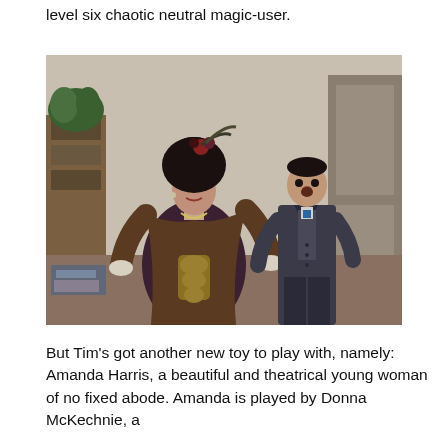level six chaotic neutral magic-user.
[Figure (photo): A woman in elaborate Victorian/theatrical costume with fur trim and ornate gold embroidery, wearing a large decorative hat, stands with hands on hips. Behind her stands a man in a dark Victorian suit near a doorway.]
But Tim’s got another new toy to play with, namely: Amanda Harris, a beautiful and theatrical young woman of no fixed abode. Amanda is played by Donna McKechnie, a